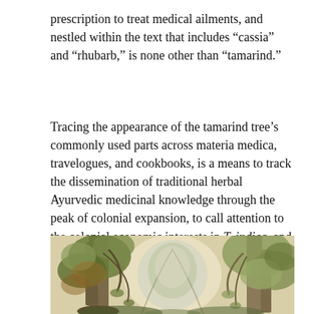prescription to treat medical ailments, and nestled within the text that includes “cassia” and “rhubarb,” is none other than “tamarind.”
Tracing the appearance of the tamarind tree’s commonly used parts across materia medica, travelogues, and cookbooks, is a means to track the dissemination of traditional herbal Ayurvedic medicinal knowledge through the peak of colonial expansion, to call attention to the colonial economic interests in T. indica, and to foreground the diverse religious and culinary cultures that the plant sustains.
[Figure (illustration): A watercolor or painting depicting a landscape scene with large trees, their trunks and drooping branches forming a natural archway, with soft greenish-yellow foliage and a light background suggesting open sky or water beyond.]